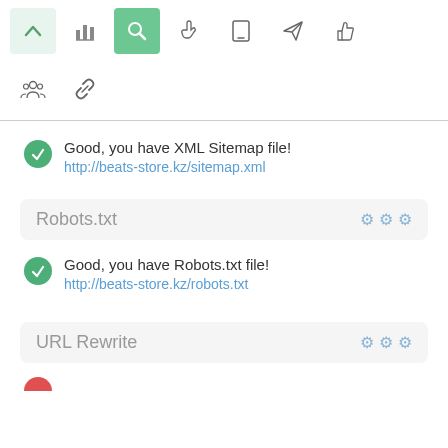[Figure (screenshot): Top navigation toolbar with icons: up arrow (light green bg), bar chart, search magnifier (active green), pointer hand, mobile phone, paper plane, thumbs up]
[Figure (screenshot): Second toolbar row with people group icon and chain link icon]
Good, you have XML Sitemap file!
http://beats-store.kz/sitemap.xml
Robots.txt
Good, you have Robots.txt file!
http://beats-store.kz/robots.txt
URL Rewrite